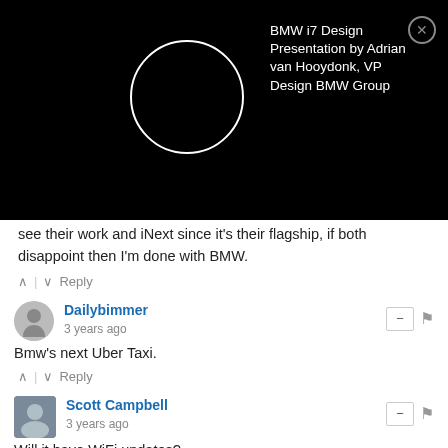[Figure (screenshot): Video overlay on black background showing a circular loading/thumbnail graphic on the left and text 'BMW i7 Design Presentation by Adrian van Hooydonk, VP Design BMW Group' on the right with a close (X) button]
see their work and INext since it's their flagship, if both disappoint then I'm done with BMW.
^ | v  Reply
Dailybimmer
3 years ago
Bmw's next Uber Taxi.
^ | v  Reply
Scott Campbell
3 years ago
Will it have WiFi updates?
^ | v  Reply
Aigars Mahinovs → Scott Campbell
3 years ago
The current 3 series has it already.